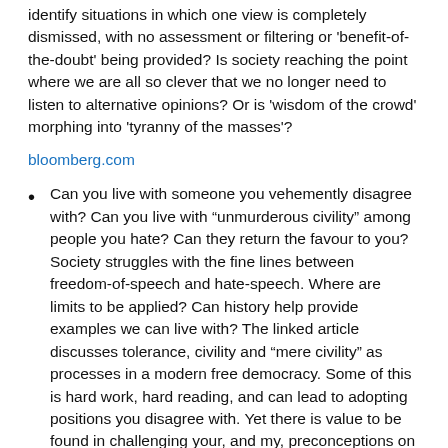identify situations in which one view is completely dismissed, with no assessment or filtering or 'benefit-of-the-doubt' being provided? Is society reaching the point where we are all so clever that we no longer need to listen to alternative opinions? Or is 'wisdom of the crowd' morphing into 'tyranny of the masses'?
bloomberg.com
Can you live with someone you vehemently disagree with? Can you live with “unmurderous civility” among people you hate? Can they return the favour to you? Society struggles with the fine lines between freedom-of-speech and hate-speech. Where are limits to be applied? Can history help provide examples we can live with? The linked article discusses tolerance, civility and “mere civility” as processes in a modern free democracy. Some of this is hard work, hard reading, and can lead to adopting positions you disagree with. Yet there is value to be found in challenging your, and my, preconceptions on just what it takes to allow freedom of speech, and how we deal with those who we do not wish to listen to.